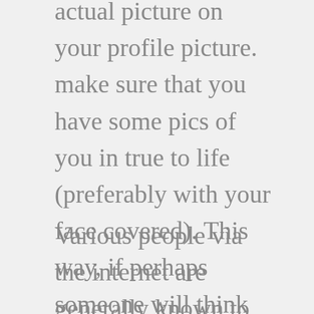actual picture on your profile picture. make sure that you have some pics of you in true to life (preferably with your face covered). This way, if perhaps someone will think that there is a good match and they do happen to become aware of your photo on your account, they have a less complicated time trusting that they are speaking with you. The last thing that you want is ideal for someone to think that you are cheating on your every day life partner simply because you did not remember to hide your picture.
Various people via the internet are generally known to not follow this online dating manners on their first date, nevertheless it's important to comply with all of the rules for your first of all date, regardless of where you